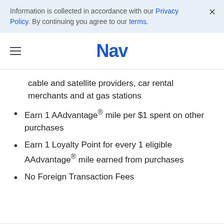Information is collected in accordance with our Privacy Policy. By continuing you agree to our terms.
Nav
cable and satellite providers, car rental merchants and at gas stations
Earn 1 AAdvantage® mile per $1 spent on other purchases
Earn 1 Loyalty Point for every 1 eligible AAdvantage® mile earned from purchases
No Foreign Transaction Fees